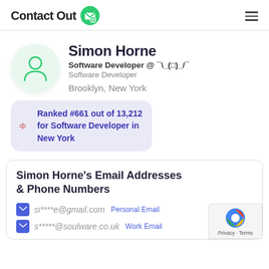ContactOut
Simon Horne
Software Developer @ ¯\_(□)_/¯
Software Developer
Brooklyn, New York
Ranked #661 out of 13,212 for Software Developer in New York
Simon Horne's Email Addresses & Phone Numbers
si****e@gmail.com   Personal Email
s*****@soulware.co.uk   Work Email